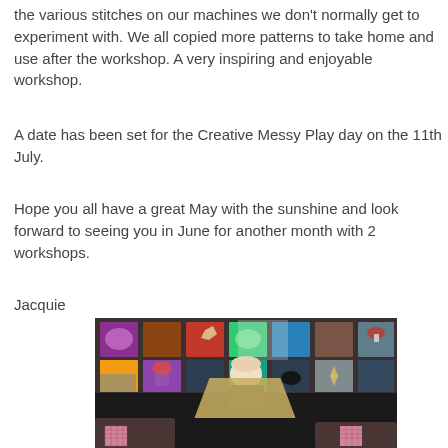the various stitches on our machines we don't normally get to experiment with. We all copied more patterns to take home and use after the workshop. A very inspiring and enjoyable workshop.
A date has been set for the Creative Messy Play day on the 11th July.
Hope you all have a great May with the sunshine and look forward to seeing you in June for another month with 2 workshops.
Jacquie
[Figure (photo): Person standing in front of a display wall covered with colourful embroidered or hooked rug panels featuring butterflies, roosters, floral designs, and other motifs. The person is holding up a large piece of tan/beige fabric. Audience members visible in the foreground.]